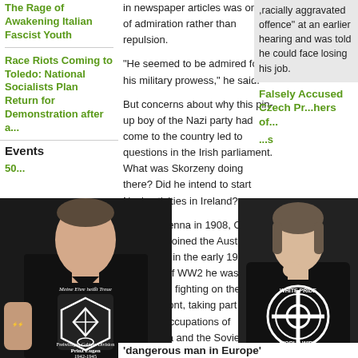The Rage of Awakening Italian Fascist Youth
Race Riots Coming to Toledo: National Socialists Plan Return for Demonstration after a...
Events
50...
in newspaper articles was one of admiration rather than repulsion.
"He seemed to be admired for his military prowess," he said.
But concerns about why this pin-up boy of the Nazi party had come to the country led to questions in the Irish parliament. What was Skorzeny doing there? Did he intend to start Nazi activities in Ireland?
Born in Vienna in 1908, Otto Skorzeny joined the Austrian Nazi party in the early 1930s. At the peak of WW2 he was initially involved in fighting on the Eastern front, taking part in the German occupations of Yugoslavia and the Soviet Union.
'dangerous man in Europe'
,racially aggravated offence" at an earlier hearing and was told he could face losing his job.
Falsely Accused Czech Prisoners of...
[Figure (photo): Man wearing black t-shirt with Nazi SS insignia and text 'Meine Ehre heißt Treue', Freiwilligen-Gebirgs Division Prinz Eugen 1942-1945]
[Figure (photo): Woman wearing black hoodie with White Pride World Wide Celtic cross symbol]